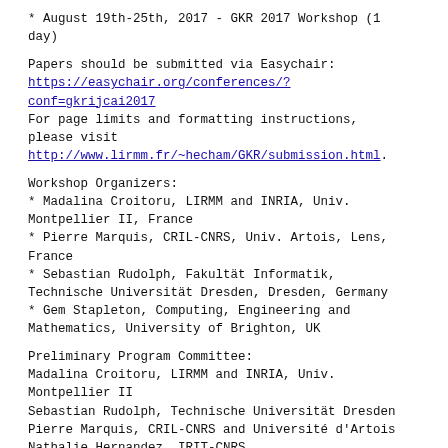* August 19th-25th, 2017 - GKR 2017 Workshop (1 day)
Papers should be submitted via Easychair:
https://easychair.org/conferences/?conf=gkrijcai2017
For page limits and formatting instructions, please visit
http://www.lirmm.fr/~hecham/GKR/submission.html.
Workshop Organizers:
* Madalina Croitoru, LIRMM and INRIA, Univ. Montpellier II, France
* Pierre Marquis, CRIL-CNRS, Univ. Artois, Lens, France
* Sebastian Rudolph, Fakultät Informatik, Technische Universität Dresden, Dresden, Germany
* Gem Stapleton, Computing, Engineering and Mathematics, University of Brighton, UK
Preliminary Program Committee:
Madalina Croitoru, LIRMM and INRIA, Univ. Montpellier II
Sebastian Rudolph, Technische Universität Dresden
Pierre Marquis, CRIL-CNRS and Université d'Artois
Nathalie Hernandez, IRIT-CNRS
Jérôme Lang, LAMSADE-CNRS
Sébastien Ferré, IRISA, Université de Rennes 1
Ollivier Haemmerlé, IRIT, Univ. Toulouse le Mirail